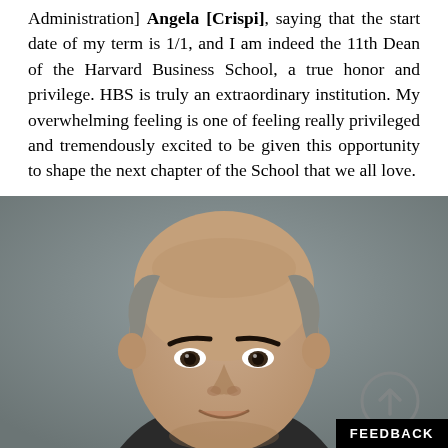Administration] Angela [Crispi], saying that the start date of my term is 1/1, and I am indeed the 11th Dean of the Harvard Business School, a true honor and privilege. HBS is truly an extraordinary institution. My overwhelming feeling is one of feeling really privileged and tremendously excited to be given this opportunity to shape the next chapter of the School that we all love.
[Figure (photo): Professional headshot of a bald middle-aged man with grey hair on the sides and dark eyebrows, smiling slightly, against a grey background. A semi-transparent scroll-up arrow icon appears in the lower right of the photo. A black FEEDBACK button is overlaid at the bottom right.]